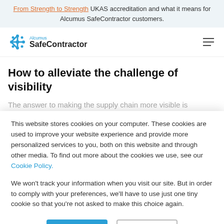From Strength to Strength UKAS accreditation and what it means for Alcumus SafeContractor customers.
[Figure (logo): Alcumus SafeContractor logo with blue snowflake icon and text]
How to alleviate the challenge of visibility
The answer to making the supply chain more visible is simple: smart software. That's where we come in. We
This website stores cookies on your computer. These cookies are used to improve your website experience and provide more personalized services to you, both on this website and through other media. To find out more about the cookies we use, see our Cookie Policy.

We won't track your information when you visit our site. But in order to comply with your preferences, we'll have to use just one tiny cookie so that you're not asked to make this choice again.